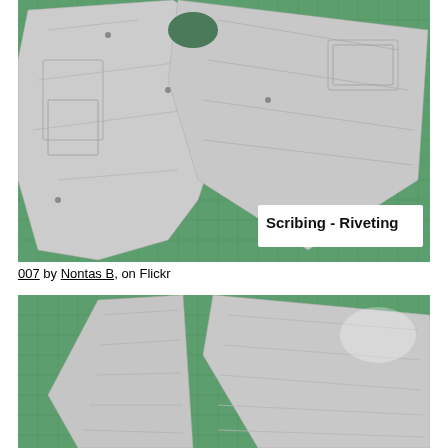[Figure (photo): Gray plastic model aircraft parts (fuselage and wing pieces) laid out on a green cutting mat. A white label in the lower right reads 'Scribing - Riveting' in bold text.]
007 by Nontas B, on Flickr
[Figure (photo): Two gray plastic model aircraft wing/fuselage pieces laid on a green cutting mat, showing panel lines and riveting detail work.]